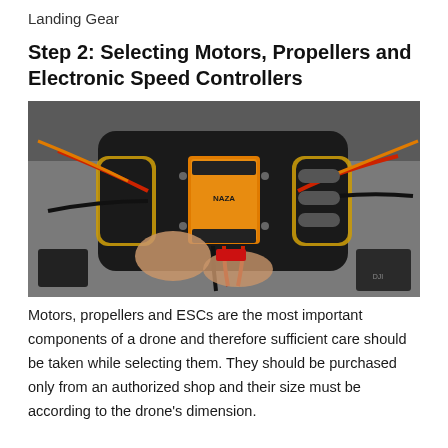Landing Gear
Step 2: Selecting Motors, Propellers and Electronic Speed Controllers
[Figure (photo): Close-up photo of a drone flight controller board (NAZA) being assembled, showing red and black wiring, yellow/gold frame arms, and electronic components on a dark PCB.]
Motors, propellers and ESCs are the most important components of a drone and therefore sufficient care should be taken while selecting them. They should be purchased only from an authorized shop and their size must be according to the drone's dimension.